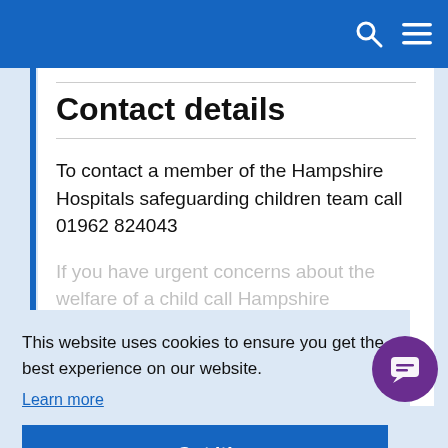[Figure (screenshot): Blue navigation header bar with search icon and menu icon on the right]
Contact details
To contact a member of the Hampshire Hospitals safeguarding children team call 01962 824043
If you have urgent concerns about the welfare of a child call Hampshire Children's Social Care on 0300 555 1384
This website uses cookies to ensure you get the best experience on our website.
Learn more
Got it!
Show accessibility tools